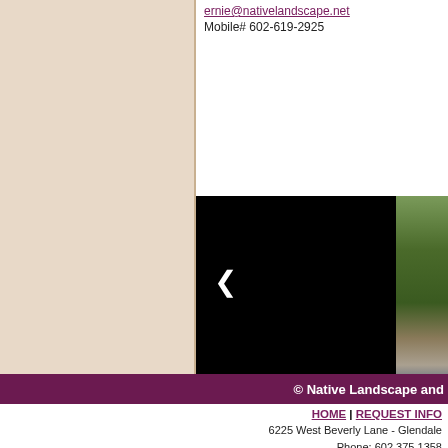ernie@nativelandscape.net
Mobile# 602-619-2925
[Figure (photo): Slideshow area with black panel showing a left arrow navigation button and a partial view of a green shrub/plant landscape photo on the right side with 'dscape' watermark text]
© Native Landscape and
HOME | REQUEST INFO
6225 West Beverly Lane - Glendale
Phone: 602.375.1358
Fax: 602.439.5052